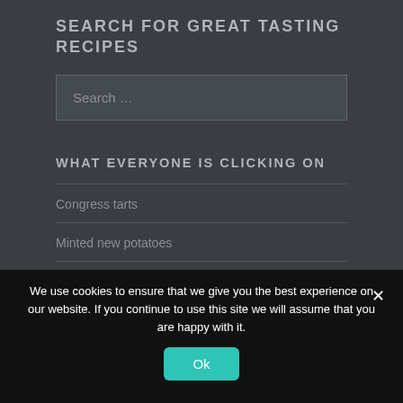SEARCH FOR GREAT TASTING RECIPES
Search …
WHAT EVERYONE IS CLICKING ON
Congress tarts
Minted new potatoes
We use cookies to ensure that we give you the best experience on our website. If you continue to use this site we will assume that you are happy with it.